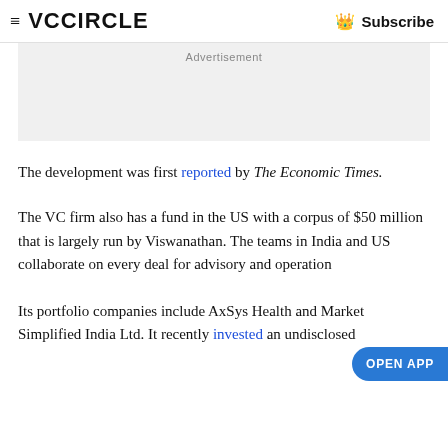≡ VCCiRCLE  👑 Subscribe
[Figure (other): Advertisement placeholder box with light gray background]
The development was first reported by The Economic Times.
The VC firm also has a fund in the US with a corpus of $50 million that is largely run by Viswanathan. The teams in India and US collaborate on every deal for advisory and operation
Its portfolio companies include AxSys Health and Market Simplified India Ltd. It recently invested an undisclosed